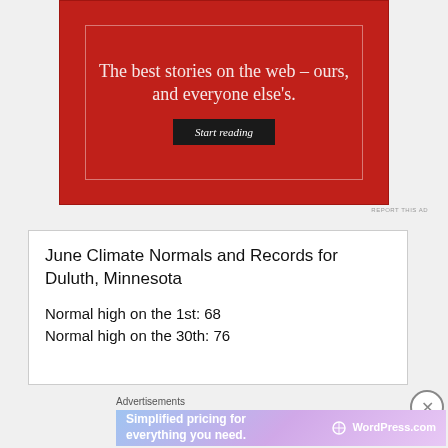[Figure (other): Red advertisement banner with white italic text 'The best stories on the web – ours, and everyone else's.' and a black 'Start reading' button]
REPORT THIS AD
June Climate Normals and Records for Duluth, Minnesota
Normal high on the 1st: 68
Normal high on the 30th: 76
Advertisements
[Figure (other): WordPress.com advertisement banner with gradient background: 'Simplified pricing for everything you need.' with WordPress.com logo]